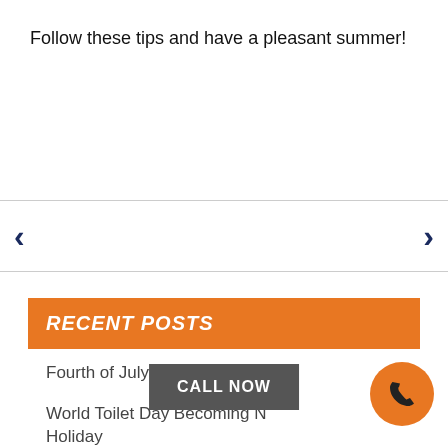Follow these tips and have a pleasant summer!
[Figure (other): Navigation arrows (left chevron and right chevron) on a white bar with horizontal borders, for a content slider]
RECENT POSTS
Fourth of July Plumbing Tips
World Toilet Day Becoming N Holiday
[Figure (other): CALL NOW button (dark gray rectangle) and orange circle with phone icon in bottom right corner]